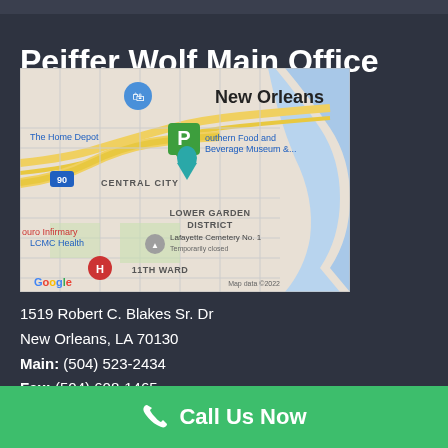Peiffer Wolf Main Office
[Figure (map): Google Maps showing New Orleans area with a parking pin marker near Southern Food and Beverage Museum, showing Central City, Lower Garden District, 11th Ward neighborhoods, The Home Depot, Touro Infirmary LCMC Health, Lafayette Cemetery No. 1. Map data ©2022.]
1519 Robert C. Blakes Sr. Dr
New Orleans, LA 70130
Main: (504) 523-2434
Fax: (504) 608-1465
Call Us Now